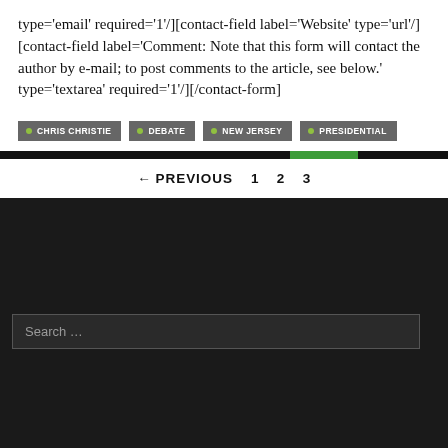type='email' required='1'/][contact-field label='Website' type='url'/][contact-field label='Comment: Note that this form will contact the author by e-mail; to post comments to the article, see below.' type='textarea' required='1'/][/contact-form]
• CHRIS CHRISTIE
• DEBATE
• NEW JERSEY
• PRESIDENTIAL
← PREVIOUS   1   2   3
Search ...